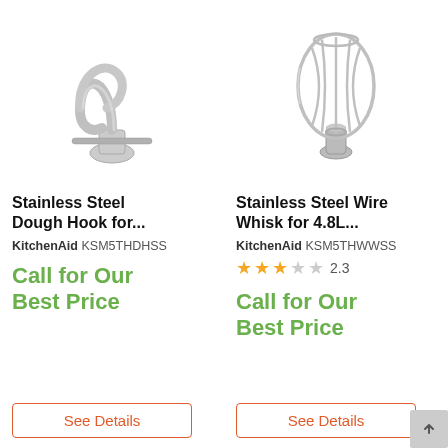[Figure (photo): Stainless Steel Dough Hook for KitchenAid mixer]
Stainless Steel Dough Hook for...
KitchenAid KSM5THDHSS
Call for Our Best Price
See Details
[Figure (photo): Stainless Steel Wire Whisk for 4.8L KitchenAid mixer]
Stainless Steel Wire Whisk for 4.8L...
KitchenAid KSM5THWWSS
2.3 stars rating
Call for Our Best Price
See Details